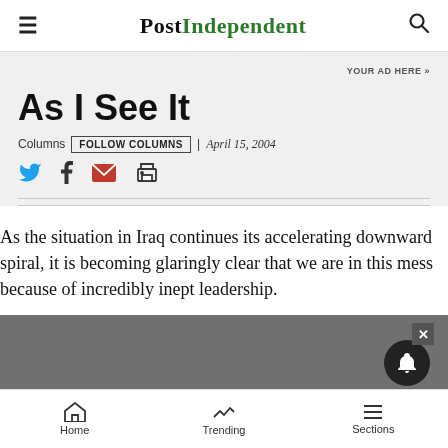POST INDEPENDENT
YOUR AD HERE »
As I See It
Columns  FOLLOW COLUMNS  | April 15, 2004
As the situation in Iraq continues its accelerating downward spiral, it is becoming glaringly clear that we are in this mess because of incredibly inept leadership.
Home  Trending  Sections